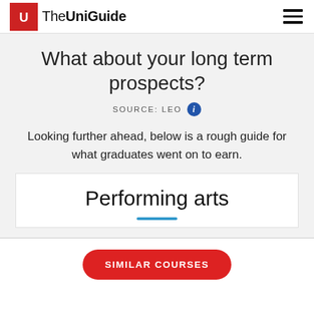The UniGuide
What about your long term prospects?
SOURCE: LEO
Looking further ahead, below is a rough guide for what graduates went on to earn.
Performing arts
SIMILAR COURSES